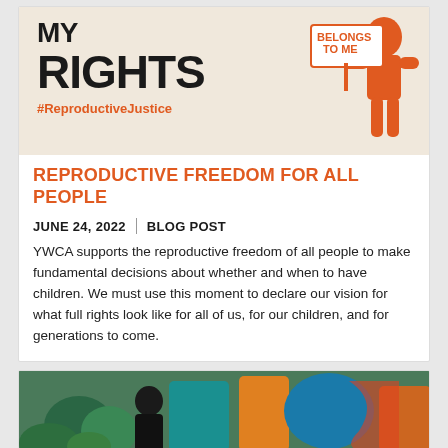[Figure (illustration): Protest banner image with bold text 'MY RIGHTS' and '#ReproductiveJustice' in orange, alongside an orange silhouette of a person holding a sign reading 'BELONGS TO ME', on a beige background.]
REPRODUCTIVE FREEDOM FOR ALL PEOPLE
JUNE 24, 2022 | BLOG POST
YWCA supports the reproductive freedom of all people to make fundamental decisions about whether and when to have children. We must use this moment to declare our vision for what full rights look like for all of us, for our children, and for generations to come.
[Figure (photo): Photo of a person in front of a colorful mural/graffiti wall with vibrant colors including blue, teal, and orange patterns.]